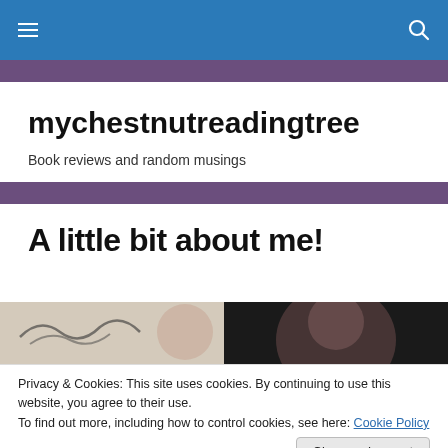mychestnutreadingtree — navigation bar with hamburger menu and search icon
mychestnutreadingtree
Book reviews and random musings
A little bit about me!
[Figure (photo): Two side-by-side photos: left shows a light-colored background with cursive writing and a person's hand, right shows a person with dark hair against a dark background.]
Privacy & Cookies: This site uses cookies. By continuing to use this website, you agree to their use.
To find out more, including how to control cookies, see here: Cookie Policy
Close and accept
[Figure (photo): Two side-by-side photos at bottom: left shows a yellow/gold book cover with italic text, right shows a person with light hair smiling.]